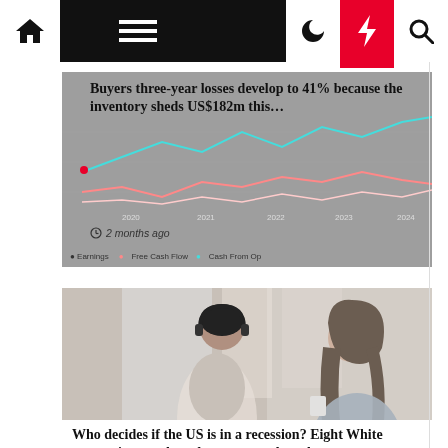Navigation bar with home, menu, moon, bolt, and search icons
[Figure (screenshot): Financial line chart showing data from 2020 to 2024 with legend: Earnings, Free Cash Flow, Cash From Op]
Buyers three-year losses develop to 41% because the inventory sheds US$182m this…
2 months ago
[Figure (photo): Two women sitting at a cafe/office table, one using a laptop with headphones, other looking at phone]
Business Economics
Who decides if the US is in a recession? Eight White economists you have by no means heard…
2 months ago